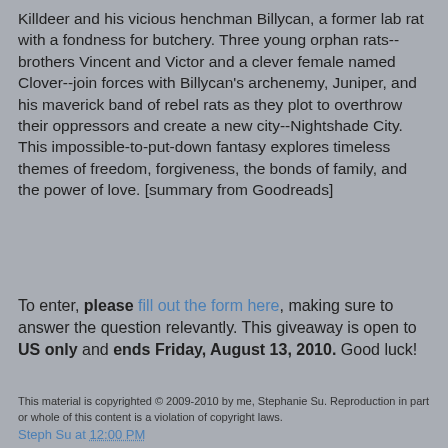Killdeer and his vicious henchman Billycan, a former lab rat with a fondness for butchery. Three young orphan rats--brothers Vincent and Victor and a clever female named Clover--join forces with Billycan's archenemy, Juniper, and his maverick band of rebel rats as they plot to overthrow their oppressors and create a new city--Nightshade City. This impossible-to-put-down fantasy explores timeless themes of freedom, forgiveness, the bonds of family, and the power of love. [summary from Goodreads]
To enter, please fill out the form here, making sure to answer the question relevantly. This giveaway is open to US only and ends Friday, August 13, 2010. Good luck!
This material is copyrighted © 2009-2010 by me, Stephanie Su. Reproduction in part or whole of this content is a violation of copyright laws.
Steph Su at 12:00 PM